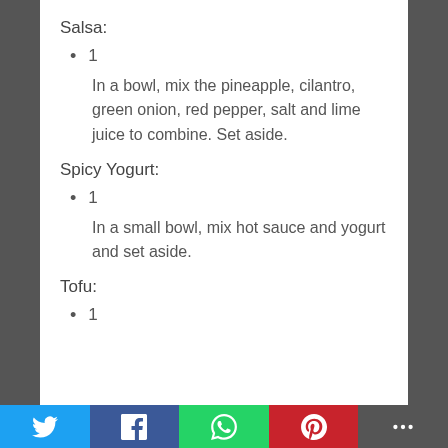Salsa:
1
In a bowl, mix the pineapple, cilantro, green onion, red pepper, salt and lime juice to combine. Set aside.
Spicy Yogurt:
1
In a small bowl, mix hot sauce and yogurt and set aside.
Tofu:
1